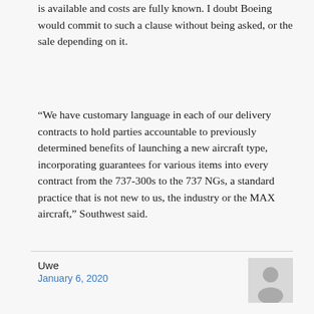is available and costs are fully known. I doubt Boeing would commit to such a clause without being asked, or the sale depending on it.
“We have customary language in each of our delivery contracts to hold parties accountable to previously determined benefits of launching a new aircraft type, incorporating guarantees for various items into every contract from the 737-300s to the 737 NGs, a standard practice that is not new to us, the industry or the MAX aircraft,” Southwest said.
Uwe
January 6, 2020